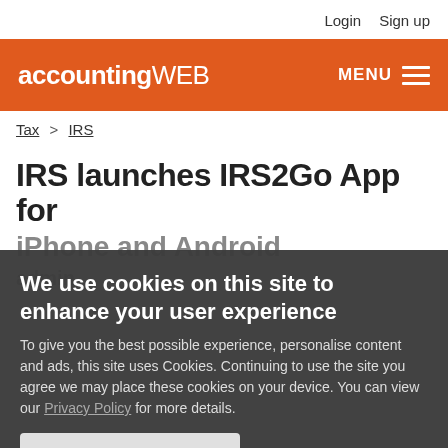Login  Sign up
accountingWEB  MENU
Tax > IRS
IRS launches IRS2Go App for iPhone and Android
We use cookies on this site to enhance your user experience
To give you the best possible experience, personalise content and ads, this site uses Cookies. Continuing to use the site you agree we may place these cookies on your device. You can view our Privacy Policy for more details.
No, give me more info
OK, I agree
admin